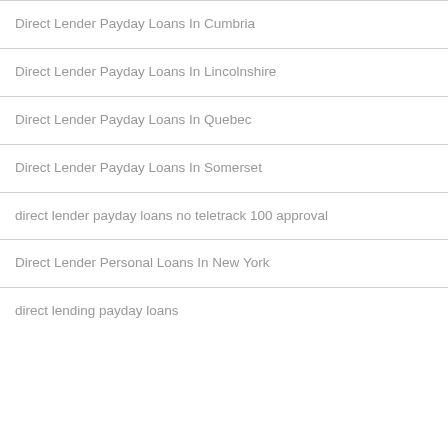Direct Lender Payday Loans In Cumbria
Direct Lender Payday Loans In Lincolnshire
Direct Lender Payday Loans In Quebec
Direct Lender Payday Loans In Somerset
direct lender payday loans no teletrack 100 approval
Direct Lender Personal Loans In New York
direct lending payday loans